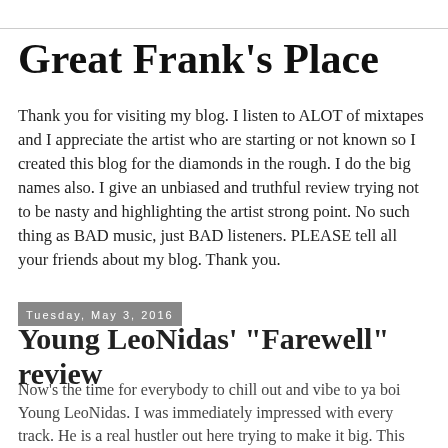Great Frank's Place
Thank you for visiting my blog. I listen to ALOT of mixtapes and I appreciate the artist who are starting or not known so I created this blog for the diamonds in the rough. I do the big names also. I give an unbiased and truthful review trying not to be nasty and highlighting the artist strong point. No such thing as BAD music, just BAD listeners. PLEASE tell all your friends about my blog. Thank you.
Tuesday, May 3, 2016
Young LeoNidas' "Farewell" review
Now's the time for everybody to chill out and vibe to ya boi Young LeoNidas. I was immediately impressed with every track. He is a real hustler out here trying to make it big. This was a wonderful piece from begging to end. After listening to this you will assured that he is a beast. You gotta expand you cerebral to really take in the fullness of his flow, and you will